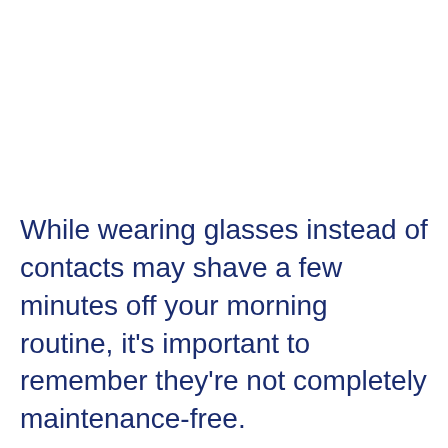While wearing glasses instead of contacts may shave a few minutes off your morning routine, it's important to remember they're not completely maintenance-free.